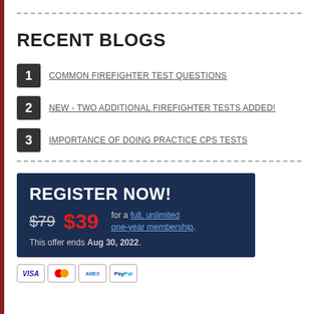RECENT BLOGS
COMMON FIREFIGHTER TEST QUESTIONS
NEW - TWO ADDITIONAL FIREFIGHTER TESTS ADDED!
IMPORTANCE OF DOING PRACTICE CPS TESTS
REGISTER NOW! $79 $39 for a full, unlimited one-year membership. This offer ends Aug 30, 2022.
[Figure (logo): Payment method icons: Visa, Mastercard, Amex, PayPal]